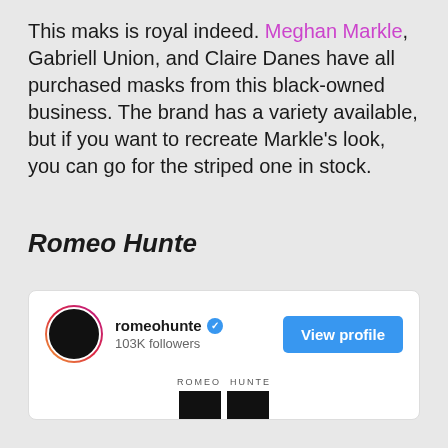This maks is royal indeed. Meghan Markle, Gabriell Union, and Claire Danes have all purchased masks from this black-owned business. The brand has a variety available, but if you want to recreate Markle's look, you can go for the striped one in stock.
Romeo Hunte
[Figure (screenshot): Instagram profile card for romeohunte showing verified badge, 103K followers, View profile button, and a grid of black square post thumbnails with ROMEO HUNTE label above them.]